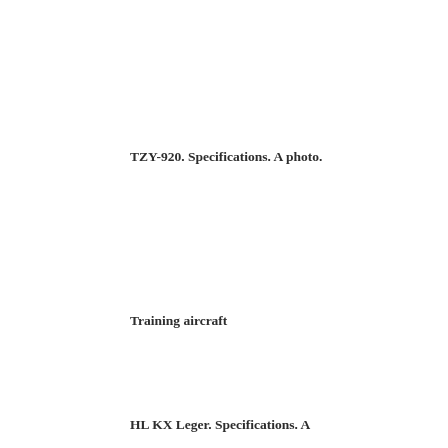TZY-920. Specifications. A photo.
Training aircraft
HL KX Leger. Specifications. A